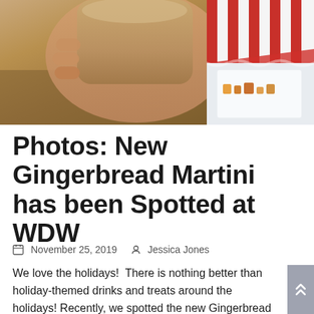[Figure (photo): A hand holding a gingerbread martini drink in a round cup, with red and white striped holiday decorations and a display case visible in the background.]
Photos: New Gingerbread Martini has been Spotted at WDW
November 25, 2019  Jessica Jones
We love the holidays!  There is nothing better than holiday-themed drinks and treats around the holidays! Recently, we spotted the new Gingerbread Martini at